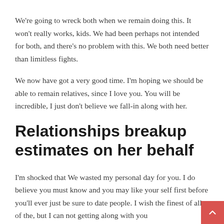We're going to wreck both when we remain doing this. It won't really works, kids. We had been perhaps not intended for both, and there's no problem with this. We both need better than limitless fights.
We now have got a very good time. I'm hoping we should be able to remain relatives, since I love you. You will be incredible, I just don't believe we fall-in along with her.
Relationships breakup estimates on her behalf
I'm shocked that We wasted my personal day for you. I do believe you must know and you may like your self first before you'll ever just be sure to date people. I wish the finest of all of the, but I can not getting along with you...All the best.